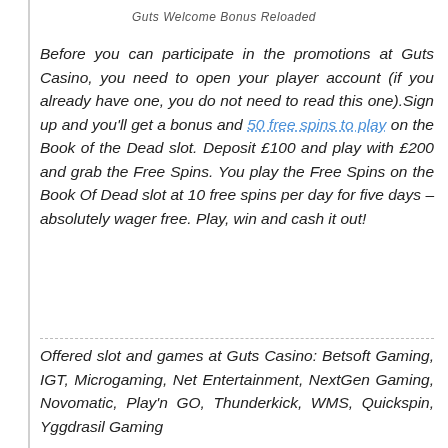Guts Welcome Bonus Reloaded
Before you can participate in the promotions at Guts Casino, you need to open your player account (if you already have one, you do not need to read this one).Sign up and you'll get a bonus and 50 free spins to play on the Book of the Dead slot. Deposit £100 and play with £200 and grab the Free Spins. You play the Free Spins on the Book Of Dead slot at 10 free spins per day for five days – absolutely wager free. Play, win and cash it out!
Offered slot and games at Guts Casino: Betsoft Gaming, IGT, Microgaming, Net Entertainment, NextGen Gaming, Novomatic, Play'n GO, Thunderkick, WMS, Quickspin, Yggdrasil Gaming